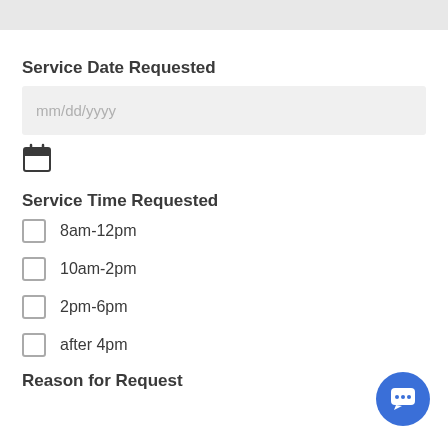Service Date Requested
mm/dd/yyyy
[Figure (other): Calendar icon]
Service Time Requested
8am-12pm
10am-2pm
2pm-6pm
after 4pm
Reason for Request